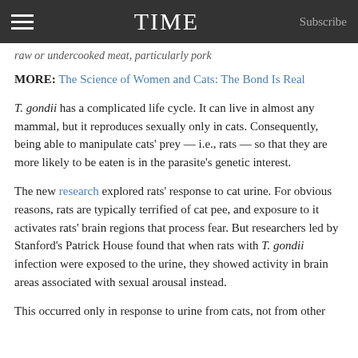TIME  Subscribe
raw or undercooked meat, particularly pork
MORE: The Science of Women and Cats: The Bond Is Real
T. gondii has a complicated life cycle. It can live in almost any mammal, but it reproduces sexually only in cats. Consequently, being able to manipulate cats' prey — i.e., rats — so that they are more likely to be eaten is in the parasite's genetic interest.
The new research explored rats' response to cat urine. For obvious reasons, rats are typically terrified of cat pee, and exposure to it activates rats' brain regions that process fear. But researchers led by Stanford's Patrick House found that when rats with T. gondii infection were exposed to the urine, they showed activity in brain areas associated with sexual arousal instead.
This occurred only in response to urine from cats, not from other